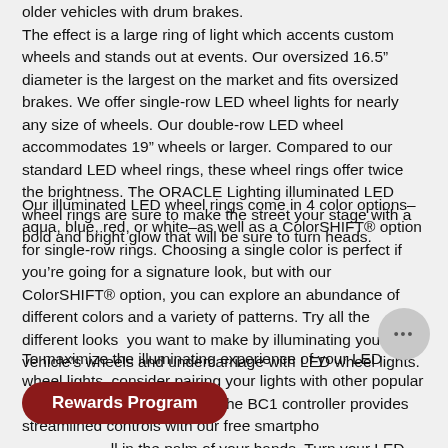older vehicles with drum brakes.
The effect is a large ring of light which accents custom wheels and stands out at events. Our oversized 16.5" diameter is the largest on the market and fits oversized brakes. We offer single-row LED wheel lights for nearly any size of wheels. Our double-row LED wheel accommodates 19" wheels or larger. Compared to our standard LED wheel rings, these wheel rings offer twice the brightness. The ORACLE Lighting illuminated LED wheel rings are sure to make the street your stage with a bold and bright glow that will be sure to turn heads.
Our illuminated LED wheel rings come in 4 color options–aqua, blue, red, or white–as well as a ColorSHIFT® option for single-row rings. Choosing a single color is perfect if you're going for a signature look, but with our ColorSHIFT® option, you can explore an abundance of different colors and a variety of patterns. Try all the different looks  you want to make by illuminating your vehicle's wheels and undercarriage with LED wheel lights.
To maximize the illuminating experience of your LED wheel lights, consider pairing your lights with other popular ORACLE Lighting products. The BC1 controller provides streamlined controls with our free smartphone app all in the palm of your hands. Turn your LED wheel lights on and off, s... more with its Bluetooth technology. With a BC1 controller, you can also control ColorSHIFT® Rock Lights at the same